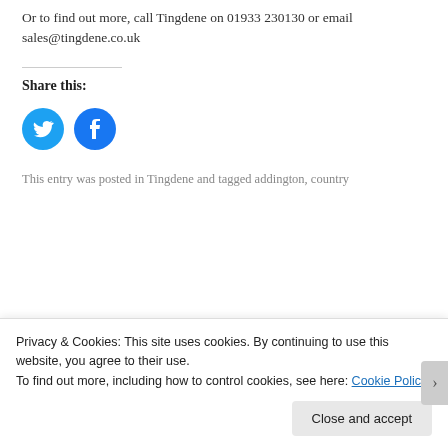Or to find out more, call Tingdene on 01933 230130 or email sales@tingdene.co.uk
Share this:
[Figure (other): Twitter and Facebook social share icon buttons (blue circles with bird and f logos)]
This entry was posted in Tingdene and tagged addington, country
Privacy & Cookies: This site uses cookies. By continuing to use this website, you agree to their use.
To find out more, including how to control cookies, see here: Cookie Policy
Close and accept